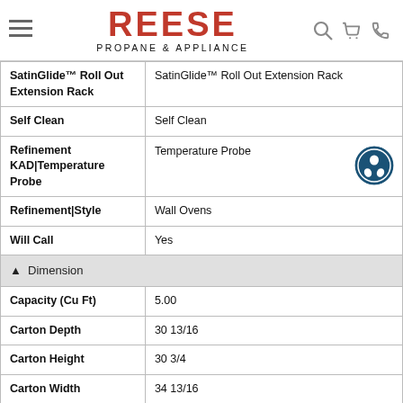REESE PROPANE & APPLIANCE
| Feature | Value |
| --- | --- |
| SatinGlide™ Roll Out Extension Rack | SatinGlide™ Roll Out Extension Rack |
| Self Clean | Self Clean |
| Refinement KAD|Temperature Probe | Temperature Probe |
| Refinement|Style | Wall Ovens |
| Will Call | Yes |
| ▲  Dimension |  |
| Capacity (Cu Ft) | 5.00 |
| Carton Depth | 30 13/16 |
| Carton Height | 30 3/4 |
| Carton Width | 34 13/16 |